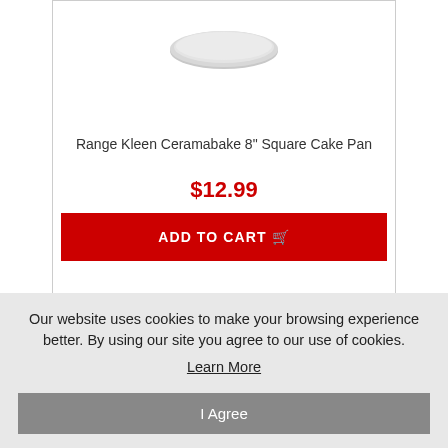[Figure (photo): Partial view of a round silver/gray cake pan from above, showing the bottom portion of the pan against a white background]
Range Kleen Ceramabake 8" Square Cake Pan
$12.99
ADD TO CART
[Figure (photo): Partial view of a round light gray/white cake pan from above, showing just the top portion of the pan]
Our website uses cookies to make your browsing experience better. By using our site you agree to our use of cookies.
Learn More
I Agree